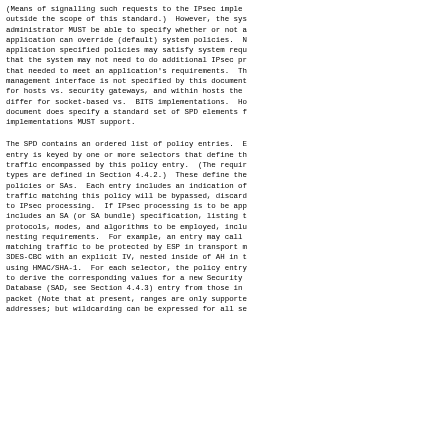(Means of signalling such requests to the IPsec implementation are outside the scope of this standard.)  However, the system administrator MUST be able to specify whether or not an application can override (default) system policies.  Note that application specified policies may satisfy system requirements, such that the system may not need to do additional IPsec processing beyond that needed to meet an application's requirements.  The management interface is not specified by this document; it may differ for hosts vs. security gateways, and within hosts the interface may differ for socket-based vs.  BITS implementations.  However, this document does specify a standard set of SPD elements that all implementations MUST support.
The SPD contains an ordered list of policy entries.  Each entry is keyed by one or more selectors that define the set of IP traffic encompassed by this policy entry.  (The required selector types are defined in Section 4.4.2.)  These define the granularity of policies or SAs.  Each entry includes an indication of whether traffic matching this policy will be bypassed, discarded, or subjected to IPsec processing.  If IPsec processing is to be applied, the entry includes an SA (or SA bundle) specification, listing the required protocols, modes, and algorithms to be employed, including any nesting requirements.  For example, an entry may call for all matching traffic to be protected by ESP in transport mode using 3DES-CBC with an explicit IV, nested inside of AH in tunnel mode using HMAC/SHA-1.  For each selector, the policy entry specifies how to derive the corresponding values for a new Security Association Database (SAD, see Section 4.4.3) entry from those in the triggering packet (Note that at present, ranges are only supported for IP addresses; but wildcarding can be expressed for all se